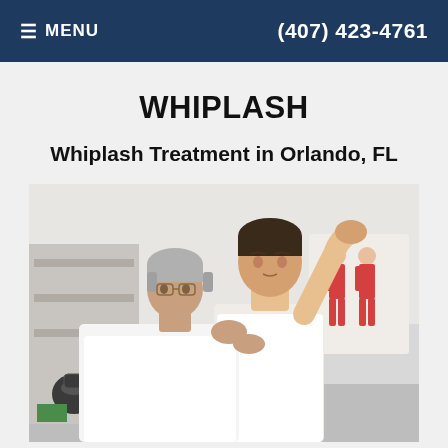≡ MENU   (407) 423-4761
WHIPLASH
Whiplash Treatment in Orlando, FL
[Figure (photo): A physical therapist (older man with glasses, grey hair, white shirt) examining the neck of a young male patient (white tank top, dark hair) who has his hand raised to his head. Medical anatomy charts of human muscles visible in the background on the right. Medical/clinical setting with shelves on the left.]